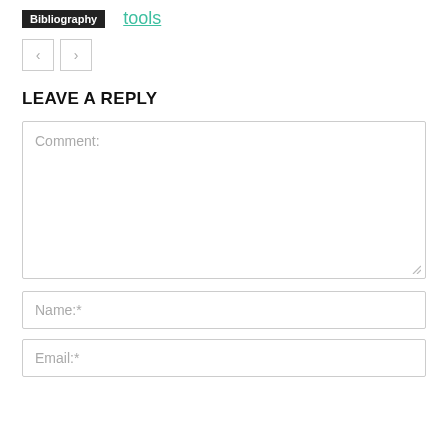Bibliography  tools
[Figure (other): Navigation arrows: left and right arrow buttons]
LEAVE A REPLY
Comment:
Name:*
Email:*